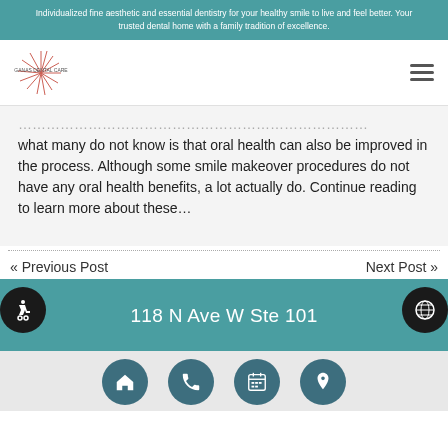Individualized fine aesthetic and essential dentistry for your healthy smile to live and feel better. Your trusted dental home with a family tradition of excellence.
[Figure (logo): Ganas Dental Care logo with sunburst/starburst lines and text]
what many do not know is that oral health can also be improved in the process. Although some smile makeover procedures do not have any oral health benefits, a lot actually do. Continue reading to learn more about these…
« Previous Post
Next Post »
118 N Ave W Ste 101